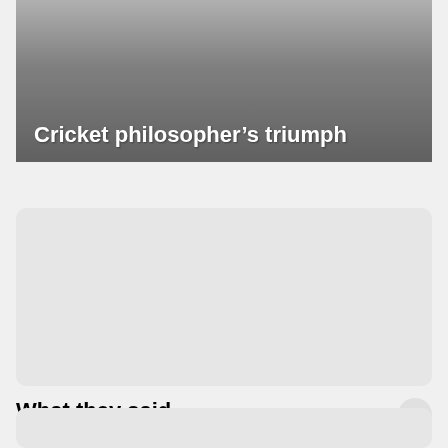[Figure (photo): Hero image with dark gradient background and white title text reading 'Cricket philosopher's triumph']
[Figure (photo): Large light grey rounded rectangle placeholder image area]
What they said
[Figure (photo): Partial light grey rounded rectangle visible at bottom of page]